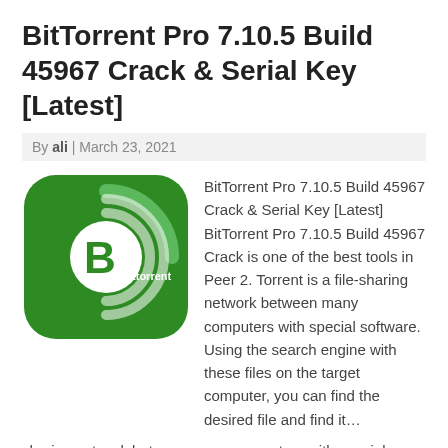BitTorrent Pro 7.10.5 Build 45967 Crack & Serial Key [Latest]
By ali | March 23, 2021
[Figure (logo): BitTorrent logo: green rounded square with concentric C-shaped arcs and a white letter B with 'ittorrent' text]
BitTorrent Pro 7.10.5 Build 45967 Crack & Serial Key [Latest] BitTorrent Pro 7.10.5 Build 45967 Crack is one of the best tools in Peer 2. Torrent is a file-sharing network between many computers with special software. Using the search engine with these files on the target computer, you can find the desired file and find it…
Read More »